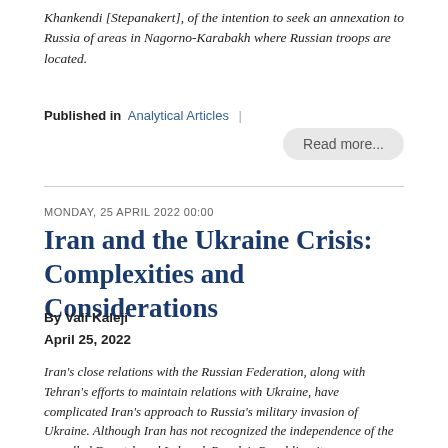Khankendi [Stepanakert], of the intention to seek an annexation to Russia of areas in Nagorno-Karabakh where Russian troops are located.
Published in  Analytical Articles  |
Read more...
MONDAY, 25 APRIL 2022 00:00
Iran and the Ukraine Crisis: Complexities and Considerations
By Vali Kaleji
April 25, 2022
Iran's close relations with the Russian Federation, along with Tehran's efforts to maintain relations with Ukraine, have complicated Iran's approach to Russia's military invasion of Ukraine. Although Iran has not recognized the independence of the so-called Donetsk and Luhansk People's Republics, it simultaneously has not criticized the attack and abstained from voting on a UN General Assembly resolution condemning Russia's invasion of Ukraine. While Tehran, like Russia, opposes NATO enlargement, it is concerned over possible negative implications of the war for the talks on Iran's nuclear